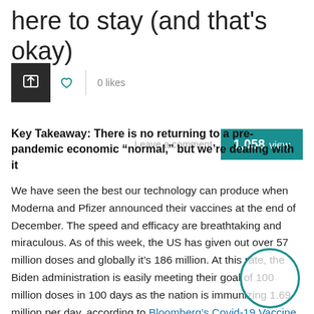here to stay (and that's okay)
[Figure (screenshot): Toolbar with share button (dark square with share icon), heart/like icon, vertical divider, '0 likes' text, 'Leave a comment' text, and a teal '1,058 view' badge]
Key Takeaway: There is no returning to a pre-pandemic economic “normal,” but we’re dealing with it
We have seen the best our technology can produce when Moderna and Pfizer announced their vaccines at the end of December. The speed and efficacy are breathtaking and miraculous. As of this week, the US has given out over 57 million doses and globally it’s 186 million. At this rate, the Biden administration is easily meeting their goal of 100 million doses in 100 days as the nation is immunizing 1.69 million per day, according to Bloomberg’s Covid-19 Vaccine Tracker. Yet ev…